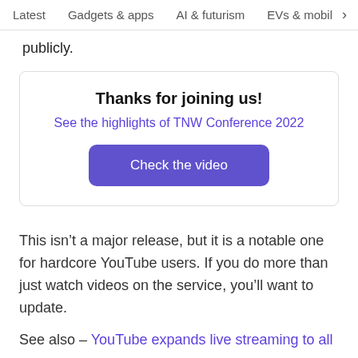Latest   Gadgets & apps   AI & futurism   EVs & mobil
publicly.
Thanks for joining us!
See the highlights of TNW Conference 2022
Check the video
This isn’t a major release, but it is a notable one for hardcore YouTube users. If you do more than just watch videos on the service, you’ll want to update.
See also – YouTube expands live streaming to all